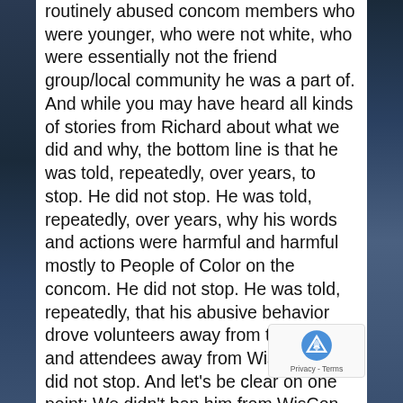routinely abused concom members who were younger, who were not white, who were essentially not the friend group/local community he was a part of. And while you may have heard all kinds of stories from Richard about what we did and why, the bottom line is that he was told, repeatedly, over years, to stop. He did not stop. He was told, repeatedly, over years, why his words and actions were harmful and harmful mostly to People of Color on the concom. He did not stop. He was told, repeatedly, that his abusive behavior drove volunteers away from the concom and attendees away from WisCon. He did not stop. And let's be clear on one point: We didn't ban him from WisCon, we removed him from the concom because he was abusive. So if you feel unwelcome because of what we did to Richard Russell, then you are okay with Richard making others feel unwelcome and unsafe. And to that I